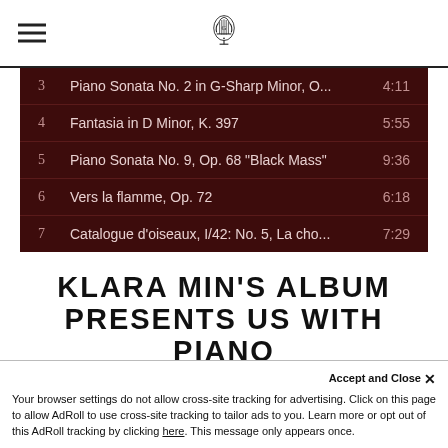[hamburger menu icon] [lyre logo]
| # | Title | Duration |
| --- | --- | --- |
| 3 | Piano Sonata No. 2 in G-Sharp Minor, O... | 4:11 |
| 4 | Fantasia in D Minor, K. 397 | 5:55 |
| 5 | Piano Sonata No. 9, Op. 68 "Black Mass" | 9:36 |
| 6 | Vers la flamme, Op. 72 | 6:18 |
| 7 | Catalogue d'oiseaux, I/42: No. 5, La cho... | 7:29 |
KLARA MIN'S ALBUM PRESENTS US WITH PIANO
PIECES THAT EVOKE NIG...
AND STIR SUBLIMINAL
Accept and Close ×
Your browser settings do not allow cross-site tracking for advertising. Click on this page to allow AdRoll to use cross-site tracking to tailor ads to you. Learn more or opt out of this AdRoll tracking by clicking here. This message only appears once.